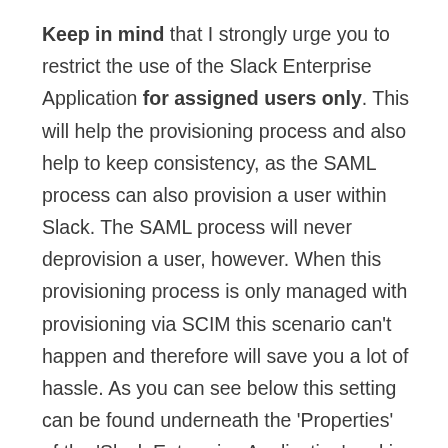Keep in mind that I strongly urge you to restrict the use of the Slack Enterprise Application for assigned users only. This will help the provisioning process and also help to keep consistency, as the SAML process can also provision a user within Slack. The SAML process will never deprovision a user, however. When this provisioning process is only managed with provisioning via SCIM this scenario can't happen and therefore will save you a lot of hassle. As you can see below this setting can be found underneath the 'Properties' of the 'Slack Enterprise Application' and is named 'User assignment